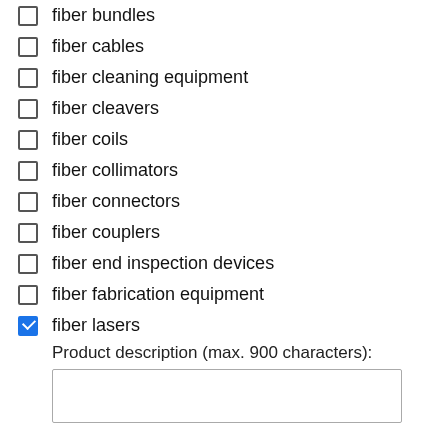fiber bundles
fiber cables
fiber cleaning equipment
fiber cleavers
fiber coils
fiber collimators
fiber connectors
fiber couplers
fiber end inspection devices
fiber fabrication equipment
fiber lasers
Product description (max. 900 characters):